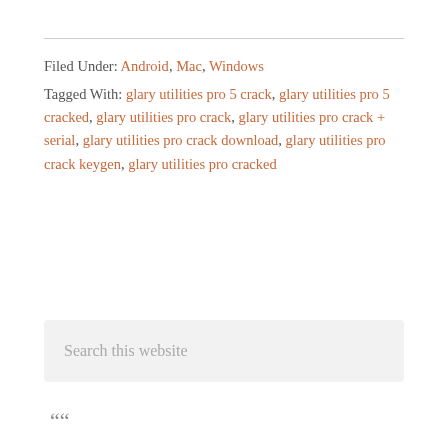Filed Under: Android, Mac, Windows
Tagged With: glary utilities pro 5 crack, glary utilities pro 5 cracked, glary utilities pro crack, glary utilities pro crack + serial, glary utilities pro crack download, glary utilities pro crack keygen, glary utilities pro cracked
Search this website
““